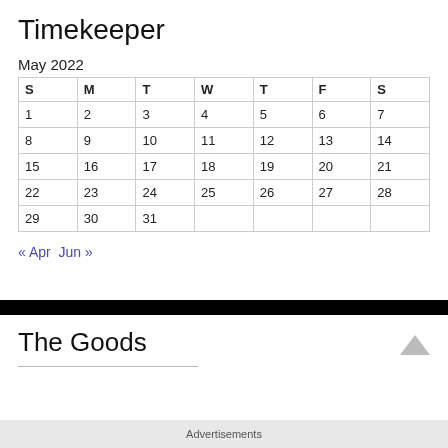Timekeeper
May 2022
| S | M | T | W | T | F | S |
| --- | --- | --- | --- | --- | --- | --- |
| 1 | 2 | 3 | 4 | 5 | 6 | 7 |
| 8 | 9 | 10 | 11 | 12 | 13 | 14 |
| 15 | 16 | 17 | 18 | 19 | 20 | 21 |
| 22 | 23 | 24 | 25 | 26 | 27 | 28 |
| 29 | 30 | 31 |  |  |  |  |
« Apr   Jun »
The Goods
Advertisements